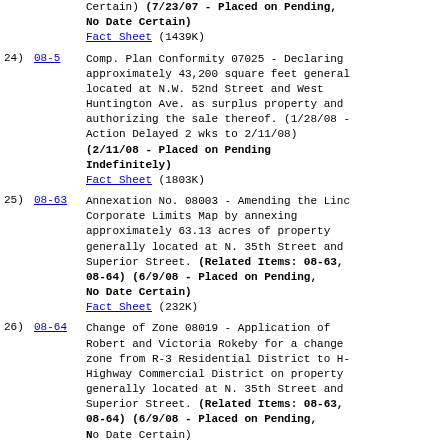Certain) (7/23/07 - Placed on Pending, No Date Certain)
Fact Sheet (1439K)
24) 08-5  Comp. Plan Conformity 07025 - Declaring approximately 43,200 square feet generally located at N.W. 52nd Street and West Huntington Ave. as surplus property and authorizing the sale thereof. (1/28/08 - Action Delayed 2 wks to 2/11/08) (2/11/08 - Placed on Pending Indefinitely) Fact Sheet (1803K)
25) 08-63  Annexation No. 08003 - Amending the Lincoln Corporate Limits Map by annexing approximately 63.13 acres of property generally located at N. 35th Street and Superior Street. (Related Items: 08-63, 08-64) (6/9/08 - Placed on Pending, No Date Certain) Fact Sheet (232K)
26) 08-64  Change of Zone 08019 - Application of Robert and Victoria Rokeby for a change of zone from R-3 Residential District to H-Highway Commercial District on property generally located at N. 35th Street and Superior Street. (Related Items: 08-63, 08-64) (6/9/08 - Placed on Pending, No Date Certain)